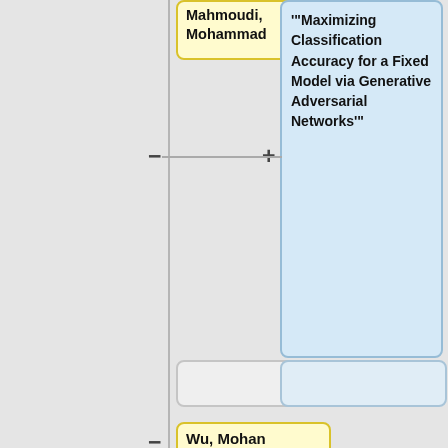[Figure (flowchart): A flowchart/tree diagram showing academic paper records. Left column shows yellow author/title nodes; right column shows blue title/description nodes. Nodes are connected by vertical and horizontal lines with +/- connectors. Visible nodes include: author 'Mahmoudi, Mohammad', title 'Maximizing Classification Accuracy for a Fixed Model via Generative Adversarial Networks', author 'Wu, Mohan', title 'Deep Learning Models in Volatility Forecasting', description node 'Description:', and a partial 'Description: Price' node with corresponding 'In machine learning,' text.]